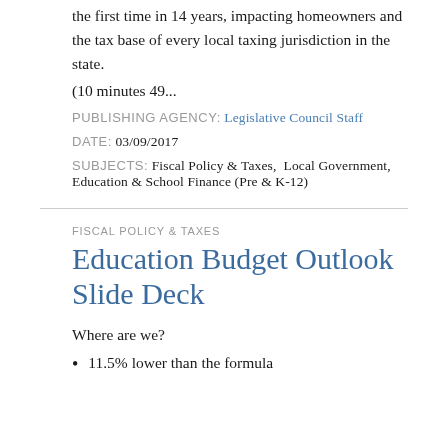the first time in 14 years, impacting homeowners and the tax base of every local taxing jurisdiction in the state.
(10 minutes 49...
PUBLISHING AGENCY: Legislative Council Staff
DATE: 03/09/2017
SUBJECTS: Fiscal Policy & Taxes,  Local Government, Education & School Finance (Pre & K-12)
FISCAL POLICY & TAXES
Education Budget Outlook Slide Deck
Where are we?
11.5% lower than the formula